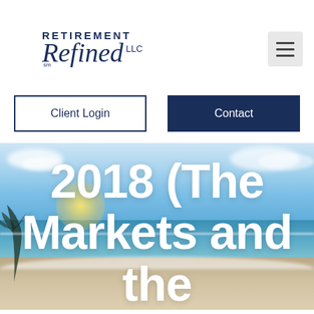[Figure (logo): Retirement Refined LLC logo in dark navy blue. 'RETIREMENT' in uppercase sans-serif, 'Refined' in italic script, 'LLC' in small caps, with 'sm' superscript trademark.]
Client Login
Contact
[Figure (photo): Tropical beach scene with clear turquoise ocean water, white sandy beach, palm trees in silhouette on the left, and a bright sunny sky with light clouds. Warm sunrise or sunset lighting.]
2018 (The Markets and the Economy)